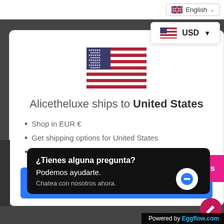[Figure (screenshot): Language selector dropdown showing English with UK flag icon]
[Figure (screenshot): Currency dropdown showing USD with US flag icon]
[Figure (illustration): US flag illustration centered on white card]
Alicetheluxe ships to United States
Shop in EUR €
Get shipping options for United States
Language set to English
[Figure (screenshot): Blue Shop now button]
[Figure (screenshot): Pink Rewards button on right side]
[Figure (screenshot): Black chat popup with Spanish text: ¿Tienes alguna pregunta? Podemos ayudarte. Chatea con nosotros ahora.]
Powered by Eggflow.com